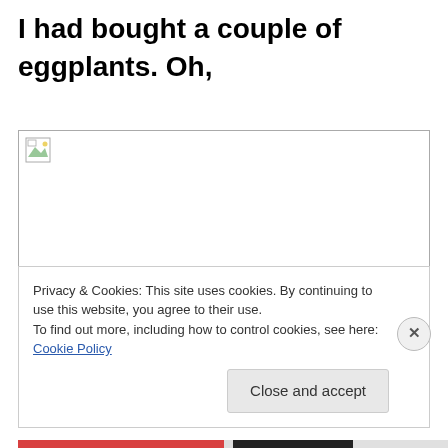I had bought a couple of eggplants. Oh, well there is always next Sunday.
[Figure (photo): Broken/missing image placeholder with small icon in top-left corner, bordered box]
Privacy & Cookies: This site uses cookies. By continuing to use this website, you agree to their use. To find out more, including how to control cookies, see here: Cookie Policy